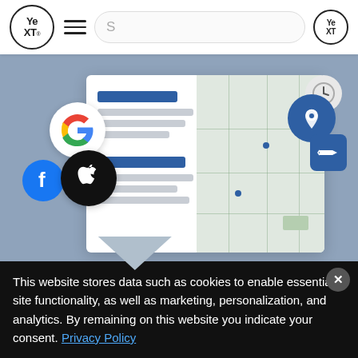[Figure (screenshot): Yext website header bar with Yext logo circle, hamburger menu icon, search bar with letter S, and smaller Yext logo on right]
[Figure (illustration): Hero illustration showing a business listing card with Google, Facebook, Apple logos, a map with pins, location icons, clock, and direction sign on a blue-gray background]
If you own a local business, or oversee digital marketing for a brand that has online listings, you're
This website stores data such as cookies to enable essential site functionality, as well as marketing, personalization, and analytics. By remaining on this website you indicate your consent. Privacy Policy